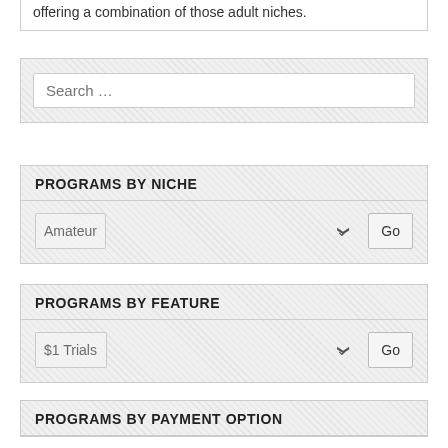offering a combination of those adult niches.
Search …
PROGRAMS BY NICHE
Amateur
PROGRAMS BY FEATURE
$1 Trials
PROGRAMS BY PAYMENT OPTION